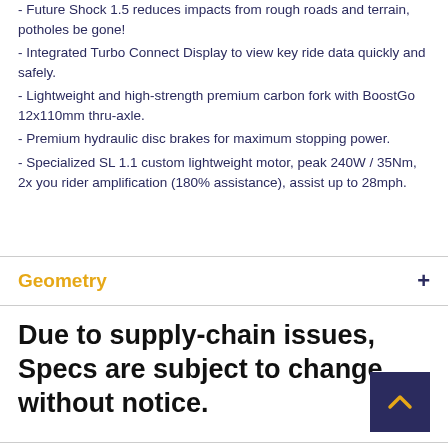- Future Shock 1.5 reduces impacts from rough roads and terrain, potholes be gone!
- Integrated Turbo Connect Display to view key ride data quickly and safely.
- Lightweight and high-strength premium carbon fork with BoostGo 12x110mm thru-axle.
- Premium hydraulic disc brakes for maximum stopping power.
- Specialized SL 1.1 custom lightweight motor, peak 240W / 35Nm, 2x you rider amplification (180% assistance), assist up to 28mph.
Geometry
Due to supply-chain issues, Specs are subject to change without notice.